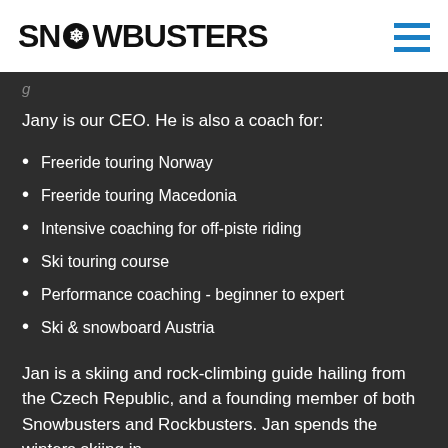SNOWBUSTERS
Jany is our CEO. He is also a coach for:
Freeride touring Norway
Freeride touring Macedonia
Intensive coaching for off-piste riding
Ski touring course
Performance coaching - beginner to expert
Ski & snowboard Austria
Jan is a skiing and rock-climbing guide hailing from the Czech Republic, and a founding member of both Snowbusters and Rockbusters. Jan spends the winters skiing in